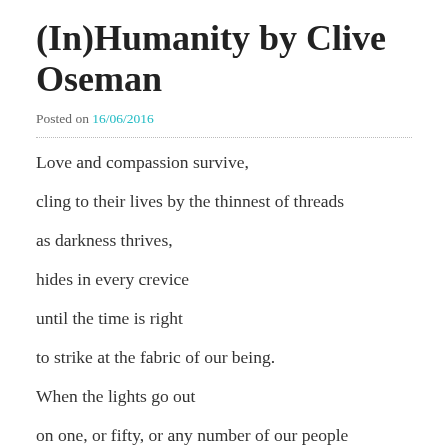(In)Humanity by Clive Oseman
Posted on 16/06/2016
Love and compassion survive,
cling to their lives by the thinnest of threads
as darkness thrives,
hides in every crevice
until the time is right
to strike at the fabric of our being.
When the lights go out
on one, or fifty, or any number of our people